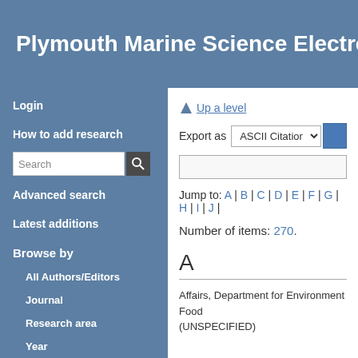Plymouth Marine Science Electronic Archive
Login
How to add research
Advanced search
Latest additions
Browse by
All Authors/Editors
Journal
Research area
Year
Institution
Up a level
Export as  ASCII Citation
Jump to: A | B | C | D | E | F | G | H | I | J |
Number of items: 270.
A
Affairs, Department for Environment Food (UNSPECIFIED)